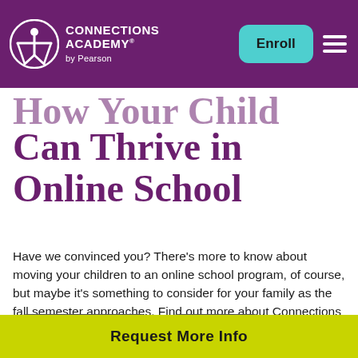Connections Academy by Pearson | Enroll
How Your Child Can Thrive in Online School
Have we convinced you? There’s more to know about moving your children to an online school program, of course, but maybe it’s something to consider for your family as the fall semester approaches. Find out more about Connections Academy by requesting a free online school eGuide and more information.
Elementary School
High School
Request More Info